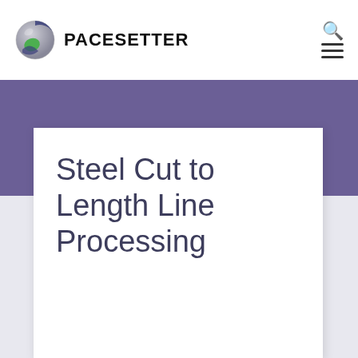[Figure (logo): Pacesetter logo: globe/sphere icon in silver, green and blue/purple, next to bold black text reading PACESETTER]
PACESETTER
Steel Cut to Length Line Processing